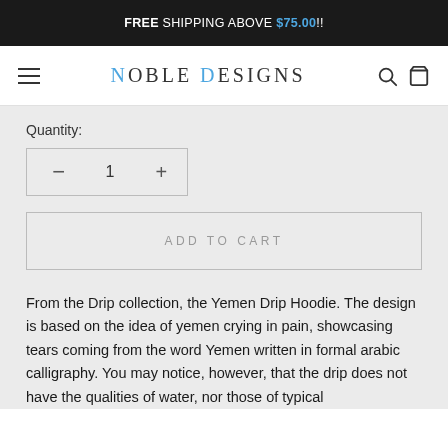FREE SHIPPING ABOVE $75.00!!
NOBLE DESIGNS
Quantity:
— 1 +
ADD TO CART
From the Drip collection, the Yemen Drip Hoodie. The design is based on the idea of yemen crying in pain, showcasing tears coming from the word Yemen written in formal arabic calligraphy. You may notice, however, that the drip does not have the qualities of water, nor those of typical